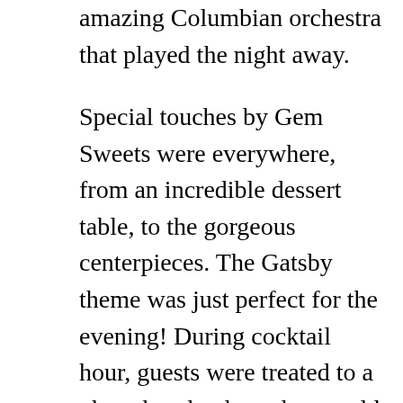amazing Columbian orchestra that played the night away.
Special touches by Gem Sweets were everywhere, from an incredible dessert table, to the gorgeous centerpieces. The Gatsby theme was just perfect for the evening! During cocktail hour, guests were treated to a photo booth where they could ham it up with some cute props and a beautiful black petal drop backdrop. To celebrate the happy couple, guests were asked to write handwritten notes of congratulations and love, and hang them on a special tree which was presented to Carlos and Leticia.